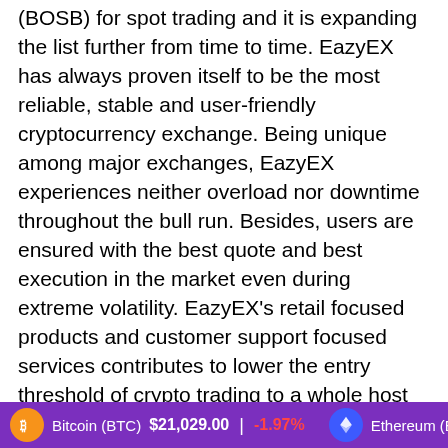(BOSB) for spot trading and it is expanding the list further from time to time. EazyEX has always proven itself to be the most reliable, stable and user-friendly cryptocurrency exchange. Being unique among major exchanges, EazyEX experiences neither overload nor downtime throughout the bull run. Besides, users are ensured with the best quote and best execution in the market even during extreme volatility. EazyEX's retail focused products and customer support focused services contributes to lower the entry threshold of crypto trading to a whole host of new users around the world, allowing them to seamlessly enjoy the immediate delivery of crypto trades.

Since EazyEX is successively attaining a growing number of users in global markets on the
Bitcoin (BTC) $21,029.00 | -1.97%   Ethereum (ETH)